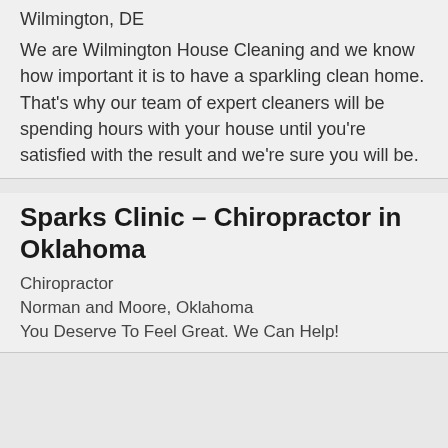Wilmington, DE
We are Wilmington House Cleaning and we know how important it is to have a sparkling clean home. That’s why our team of expert cleaners will be spending hours with your house until you’re satisfied with the result and we’re sure you will be.
Sparks Clinic – Chiropractor in Oklahoma
Chiropractor
Norman and Moore, Oklahoma
You Deserve To Feel Great. We Can Help!